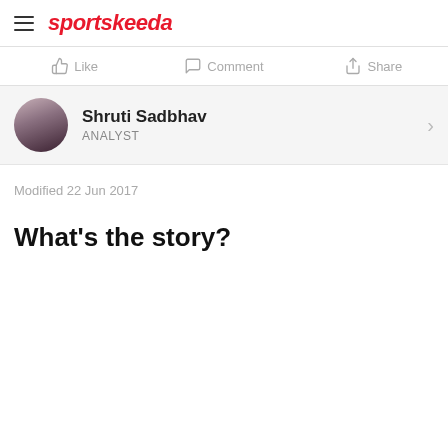sportskeeda
Like   Comment   Share
Shruti Sadbhav
ANALYST
Modified 22 Jun 2017
What's the story?